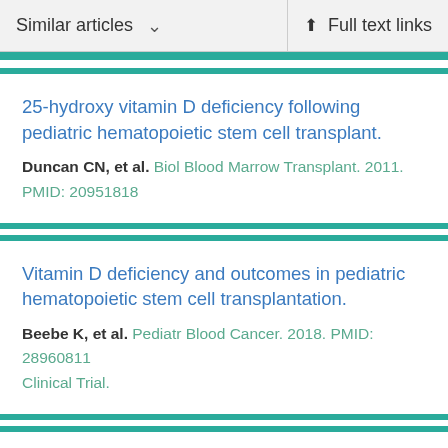Similar articles   Full text links
25-hydroxy vitamin D deficiency following pediatric hematopoietic stem cell transplant.
Duncan CN, et al. Biol Blood Marrow Transplant. 2011.
PMID: 20951818
Vitamin D deficiency and outcomes in pediatric hematopoietic stem cell transplantation.
Beebe K, et al. Pediatr Blood Cancer. 2018. PMID: 28960811
Clinical Trial.
Hypovitaminosis D among healthy children in the United States: a review of the current evidence.